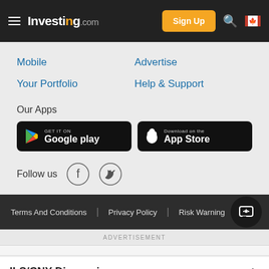Investing.com — Sign Up
Mobile
Advertise
Your Portfolio
Help & Support
Our Apps
[Figure (screenshot): Google Play store badge: GET IT ON Google play]
[Figure (screenshot): Apple App Store badge: Download on the App Store]
Follow us
Terms And Conditions   Privacy Policy   Risk Warning
ADVERTISEMENT
ILS/CNY Discussions